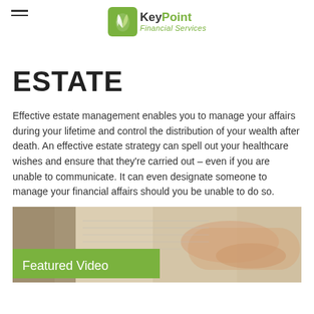KeyPoint Financial Services
ESTATE
Effective estate management enables you to manage your affairs during your lifetime and control the distribution of your wealth after death. An effective estate strategy can spell out your healthcare wishes and ensure that they're carried out – even if you are unable to communicate. It can even designate someone to manage your financial affairs should you be unable to do so.
[Figure (photo): Photo of hands turning pages of a book, with a green 'Featured Video' label overlay in the lower-left corner.]